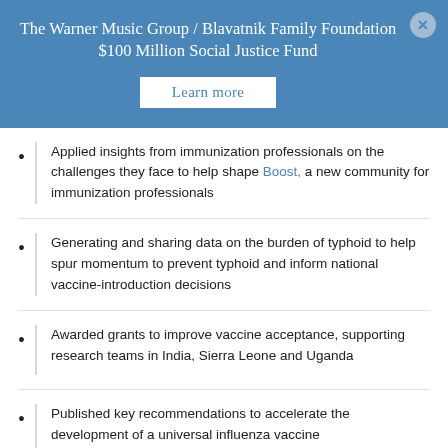The Warner Music Group / Blavatnik Family Foundation $100 Million Social Justice Fund
Learn more
Applied insights from immunization professionals on the challenges they face to help shape Boost, a new community for immunization professionals
Generating and sharing data on the burden of typhoid to help spur momentum to prevent typhoid and inform national vaccine-introduction decisions
Awarded grants to improve vaccine acceptance, supporting research teams in India, Sierra Leone and Uganda
Published key recommendations to accelerate the development of a universal influenza vaccine